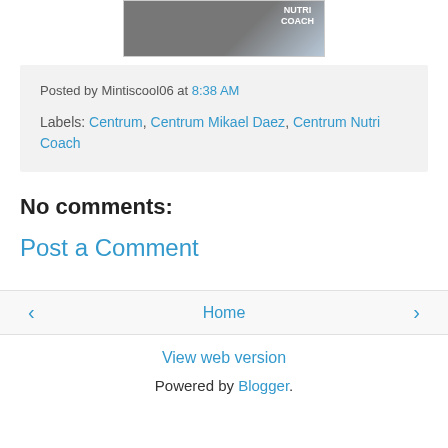[Figure (photo): Partial photo showing a person holding something, with Nutri Coach logo/text visible in upper right]
Posted by Mintiscool06 at 8:38 AM
Labels: Centrum, Centrum Mikael Daez, Centrum Nutri Coach
No comments:
Post a Comment
‹  Home  ›
View web version
Powered by Blogger.